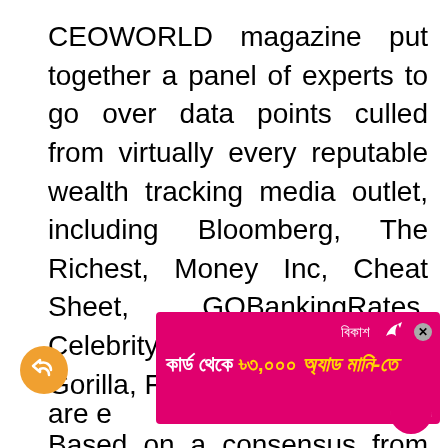CEOWORLD magazine put together a panel of experts to go over data points culled from virtually every reputable wealth tracking media outlet, including Bloomberg, The Richest, Money Inc, Cheat Sheet, GOBankingRates, Celebrity Net Worth, Wealthy Gorilla, Forbes, and more.
Based on a consensus from these sources, the final decision for ranking was judged editorially. All data is for the most recent period available. Some were not included in the official statistics for various reasons, primarily due to unavailable data.
[Figure (other): Advertisement banner for bKash (Bangladeshi mobile financial service) showing text in Bengali: 'কার্ড থেকে ৳৩,০০০ অ্যাড মানি-তে' on a pink/magenta background with bKash logo and a close button.]